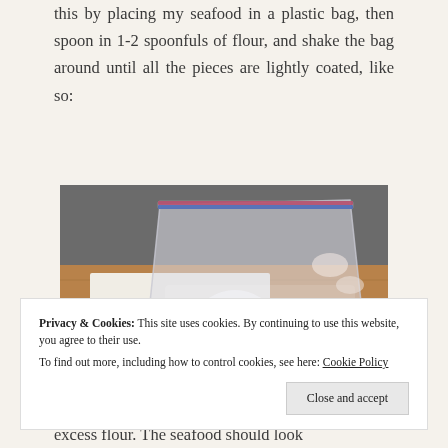this by placing my seafood in a plastic bag, then spoon in 1-2 spoonfuls of flour, and shake the bag around until all the pieces are lightly coated, like so:
[Figure (photo): A zip-lock plastic bag containing shrimp coated in flour, placed on a wooden cutting board on a granite countertop. Several uncoated shrimp pieces are visible to the left of the bag.]
excess flour. The seafood should look
Privacy & Cookies: This site uses cookies. By continuing to use this website, you agree to their use. To find out more, including how to control cookies, see here: Cookie Policy
Close and accept